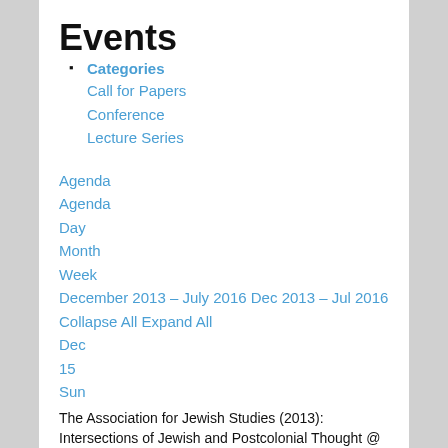Events
Categories
Call for Papers
Conference
Lecture Series
Agenda
Agenda
Day
Month
Week
December 2013 – July 2016 Dec 2013 – Jul 2016
Collapse All Expand All
Dec
15
Sun
The Association for Jewish Studies (2013): Intersections of Jewish and Postcolonial Thought @ Sheraton